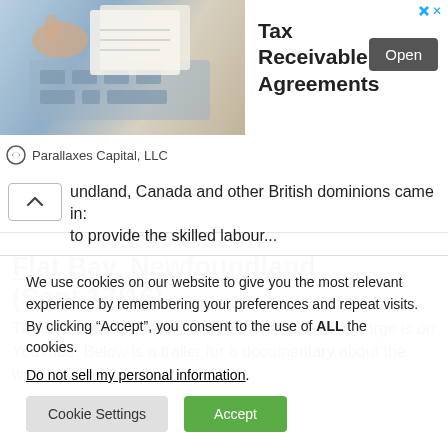[Figure (screenshot): Advertisement banner for Tax Receivable Agreements by Parallaxes Capital, LLC with an image of hands on a calculator and keyboard, an Open button, and a close button.]
undland, Canada and other British dominions came in: to provide the skilled labour...
Flat Bay, Newfoundland (Sept.17/16)
The Mi'kmaq community of Flat Bay in Bay St. George is on YouTube. Below is a trailer for a documentary about the west
We use cookies on our website to give you the most relevant experience by remembering your preferences and repeat visits. By clicking “Accept”, you consent to the use of ALL the cookies.
Do not sell my personal information.